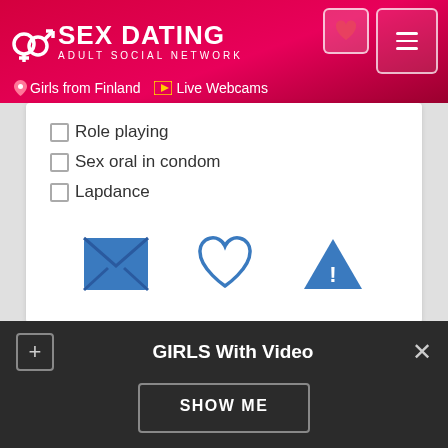SEX DATING ADULT SOCIAL NETWORK — Girls from Finland | Live Webcams
Role playing
Sex oral in condom
Lapdance
[Figure (infographic): Three action icons: envelope (message), heart (favorite), warning triangle (report)]
Contact by Phone
GIRLS With Video
SHOW ME